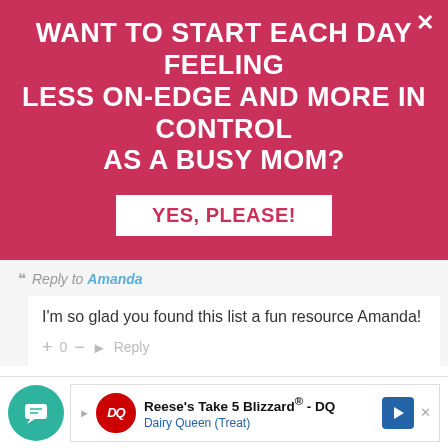WANT TO START EACH DAY FEELING LESS ON-EDGE AND MORE IN CONTROL AS A BUSY MOM?
YES, PLEASE!
Reply to Amanda
I'm so glad you found this list a fun resource Amanda!
+ 0 — Reply
Jessica 4 years ago
Such a great list. So many times people think you have to be over the top to be a great parent and really it's easy if you have a list like this to remind you!
60 0 — Reply
Reese's Take 5 Blizzard® - DQ Dairy Queen (Treat)